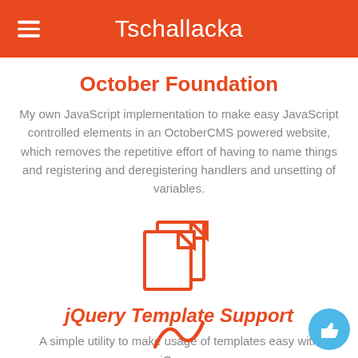Tschallacka
October Foundation
My own JavaScript implementation to make easy JavaScript controlled elements in an OctoberCMS powered website, which removes the repetitive effort of having to name things and registering and deregistering handlers and unsetting of variables.
[Figure (illustration): Two overlapping document/file icons in orange outline style]
jQuery Template Support
A simple utility to make usage of templates easy with jQuery.
[Figure (illustration): Orange squiggle/wave icon at bottom center, and a blue circular thumbs-up button at bottom right]